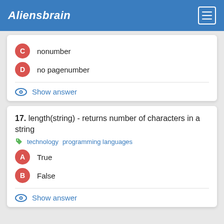Aliensbrain
C nonumber
D no pagenumber
Show answer
17. length(string) - returns number of characters in a string
technology  programming languages
A True
B False
Show answer